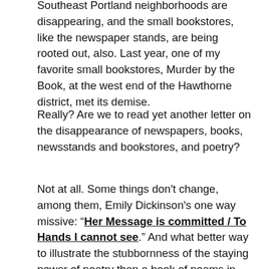Southeast Portland neighborhoods are disappearing, and the small bookstores, like the newspaper stands, are being rooted out, also. Last year, one of my favorite small bookstores, Murder by the Book, at the west end of the Hawthorne district, met its demise.
Really? Are we to read yet another letter on the disappearance of newspapers, books, newsstands and bookstores, and poetry?
Not at all. Some things don't change, among them, Emily Dickinson's one way missive: “Her Message is committed / To Hands I cannot see.” And what better way to illustrate the stubbornness of the staying power of poetry than a book of poems in which each poem is a letter to someone? We save letters, but first we have to write them, send and receive them.
Poetry, as John Cage said of music, occurs whether we